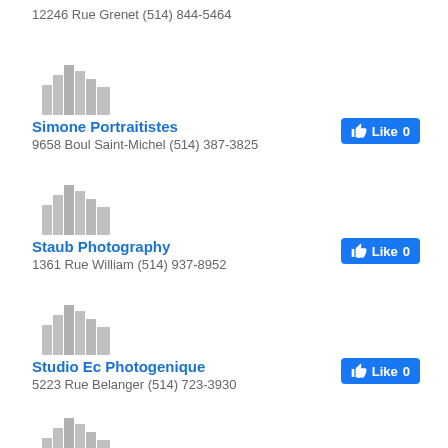12246 Rue Grenet (514) 844-5464
[Figure (illustration): Grey placeholder building/cityscape icon]
Simone Portraitistes
9658 Boul Saint-Michel (514) 387-3825
[Figure (illustration): Grey placeholder building/cityscape icon]
Staub Photography
1361 Rue William (514) 937-8952
[Figure (illustration): Grey placeholder building/cityscape icon]
Studio Ec Photogenique
5223 Rue Belanger (514) 723-3930
[Figure (illustration): Grey placeholder building/cityscape icon]